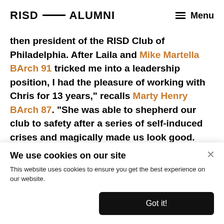RISD — ALUMNI   Menu
then president of the RISD Club of Philadelphia. After Laila and Mike Martella BArch 91 tricked me into a leadership position, I had the pleasure of working with Chris for 13 years," recalls Marty Henry BArch 87. "She was able to shepherd our club to safety after a series of self-induced crises and magically made us look good. She gave us a
We use cookies on our site
This website uses cookies to ensure you get the best experience on our website.
Got it!